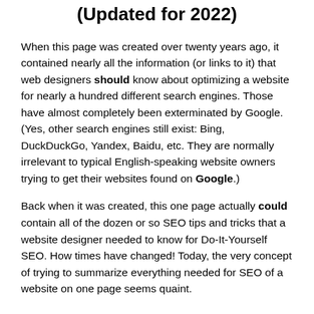(Updated for 2022)
When this page was created over twenty years ago, it contained nearly all the information (or links to it) that web designers should know about optimizing a website for nearly a hundred different search engines. Those have almost completely been exterminated by Google. (Yes, other search engines still exist: Bing, DuckDuckGo, Yandex, Baidu, etc. They are normally irrelevant to typical English-speaking website owners trying to get their websites found on Google.)
Back when it was created, this one page actually could contain all of the dozen or so SEO tips and tricks that a website designer needed to know for Do-It-Yourself SEO. How times have changed! Today, the very concept of trying to summarize everything needed for SEO of a website on one page seems quaint.